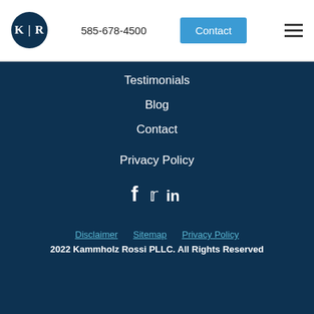K | R  585-678-4500  Contact
Testimonials
Blog
Contact
Privacy Policy
[Figure (other): Social media icons: Facebook, Twitter, LinkedIn]
Disclaimer   Sitemap   Privacy Policy
2022 Kammholz Rossi PLLC. All Rights Reserved